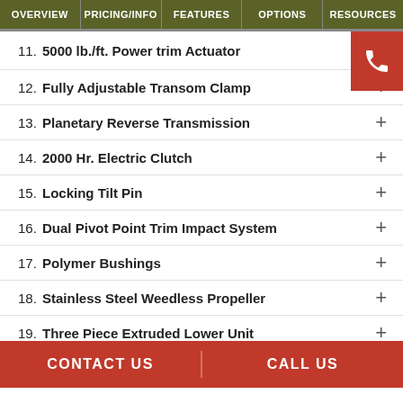OVERVIEW | PRICING/INFO | FEATURES | OPTIONS | RESOURCES
11. 5000 lb./ft. Power trim Actuator
12. Fully Adjustable Transom Clamp
13. Planetary Reverse Transmission
14. 2000 Hr. Electric Clutch
15. Locking Tilt Pin
16. Dual Pivot Point Trim Impact System
17. Polymer Bushings
18. Stainless Steel Weedless Propeller
19. Three Piece Extruded Lower Unit
CONTACT US    CALL US